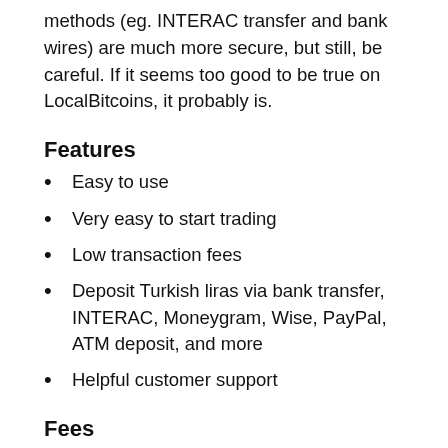methods (eg. INTERAC transfer and bank wires) are much more secure, but still, be careful. If it seems too good to be true on LocalBitcoins, it probably is.
Features
Easy to use
Very easy to start trading
Low transaction fees
Deposit Turkish liras via bank transfer, INTERAC, Moneygram, Wise, PayPal, ATM deposit, and more
Helpful customer support
Fees
Trading fees: 0.00006 BTC (~$4 CAD) flat fee per transaction
Depositing funds: Free